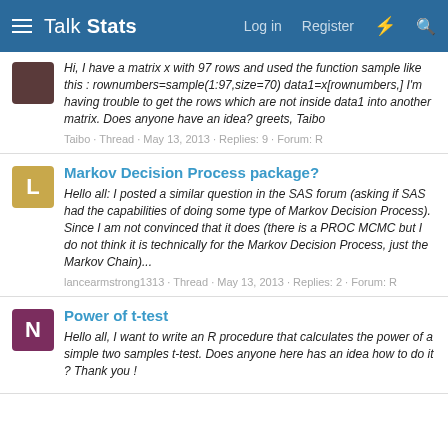Talk Stats — Log in  Register
Hi, I have a matrix x with 97 rows and used the function sample like this : rownumbers=sample(1:97,size=70) data1=x[rownumbers,] I'm having trouble to get the rows which are not inside data1 into another matrix. Does anyone have an idea? greets, Taibo
Taibo · Thread · May 13, 2013 · Replies: 9 · Forum: R
Markov Decision Process package?
Hello all: I posted a similar question in the SAS forum (asking if SAS had the capabilities of doing some type of Markov Decision Process). Since I am not convinced that it does (there is a PROC MCMC but I do not think it is technically for the Markov Decision Process, just the Markov Chain)...
lancearmstrong1313 · Thread · May 13, 2013 · Replies: 2 · Forum: R
Power of t-test
Hello all, I want to write an R procedure that calculates the power of a simple two samples t-test. Does anyone here has an idea how to do it ? Thank you !